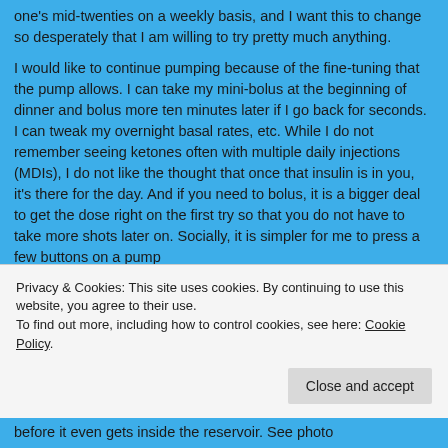one's mid-twenties on a weekly basis, and I want this to change so desperately that I am willing to try pretty much anything.
I would like to continue pumping because of the fine-tuning that the pump allows. I can take my mini-bolus at the beginning of dinner and bolus more ten minutes later if I go back for seconds.  I can tweak my overnight basal rates, etc.  While I do not remember seeing ketones often with multiple daily injections (MDIs), I do not like the thought that once that insulin is in you, it's there for the day.  And if you need to bolus, it is a bigger deal to get the dose right on the first try so that you do not have to take more shots later on.  Socially, it is simpler for me to press a few buttons on a pump
Privacy & Cookies: This site uses cookies. By continuing to use this website, you agree to their use.
To find out more, including how to control cookies, see here: Cookie Policy
before it even gets inside the reservoir.  See photo